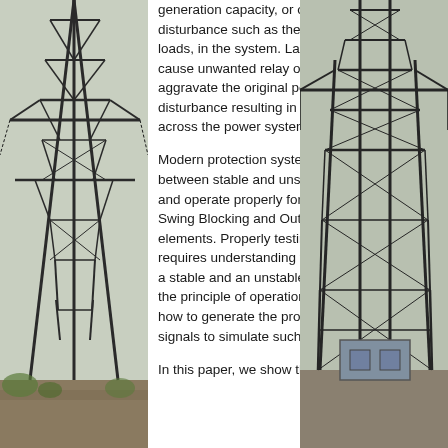[Figure (photo): Photograph of a high-voltage electricity transmission tower/pylon structure on the left side of the page]
generation capacity, or other type of disturbance such as the loss or insertion of loads, in the system. Large Power Swings can cause unwanted relay operations which may aggravate the original power system disturbance resulting in cascading blackouts across the power system.
Modern protection systems can differentiate between stable and unstable Power Swings and operate properly for them using Power Swing Blocking and Out-Of-Step tripping elements. Properly testing these elements, requires understanding the difference between a stable and an unstable power swing, what is the principle of operation of such elements and how to generate the proper power system signals to simulate such conditions.
In this paper, we show the th...
[Figure (photo): Photograph of a high-voltage electricity transmission tower/substation structure on the right side of the page]